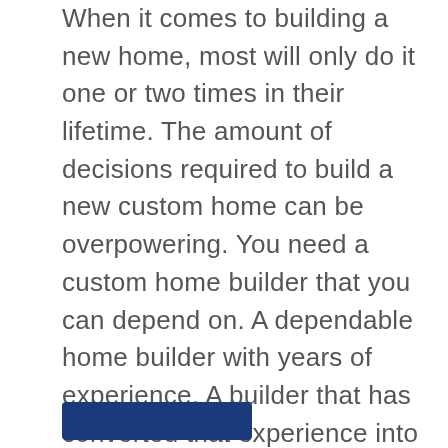When it comes to building a new home, most will only do it one or two times in their lifetime. The amount of decisions required to build a new custom home can be overpowering. You need a custom home builder that you can depend on. A dependable home builder with years of experience. A builder that has converted that experience into knowledge that they share with their customers as they start down the path of building a new custom home. Impresa Modular is the only custom home builder with a distinct blend of knowledge and experience that you can rely on. We stand beside of you through the design of your custom home plan to the delivery of your custom modular home!
[Figure (other): Dark navy blue button/banner element at bottom of page]